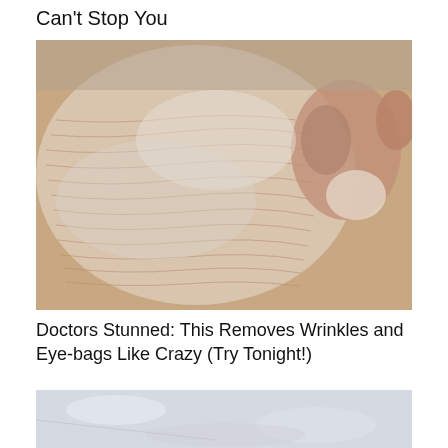Can't Stop You
[Figure (photo): Close-up photo of a person's face with a white/clay face mask applied, showing wrinkled skin texture with horizontal lines across the cheek area, and the nose partially visible.]
Doctors Stunned: This Removes Wrinkles and Eye-bags Like Crazy (Try Tonight!)
[Figure (photo): Partial photo showing a pale, slightly translucent surface, possibly a skincare product or material, cropped at the bottom of the page.]